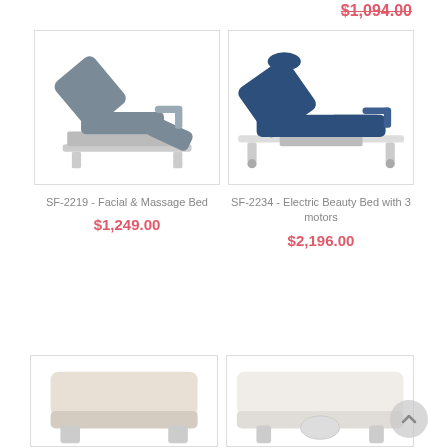$1,094.00
[Figure (photo): Gray electric facial and massage bed/chair with adjustable backrest and leg rest, white metal frame]
SF-2219 - Facial & Massage Bed
$1,249.00
[Figure (photo): Navy blue electric beauty bed with 3 motors, adjustable sections, white metal frame with wheels]
SF-2234 - Electric Beauty Bed with 3 motors
$2,196.00
[Figure (photo): Bottom partial view of a white/cream colored massage bed]
[Figure (photo): Bottom partial view of a white massage bed with face cradle]